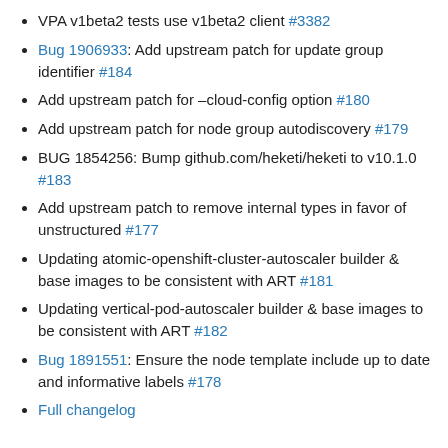VPA v1beta2 tests use v1beta2 client #3382
Bug 1906933: Add upstream patch for update group identifier #184
Add upstream patch for –cloud-config option #180
Add upstream patch for node group autodiscovery #179
BUG 1854256: Bump github.com/heketi/heketi to v10.1.0 #183
Add upstream patch to remove internal types in favor of unstructured #177
Updating atomic-openshift-cluster-autoscaler builder & base images to be consistent with ART #181
Updating vertical-pod-autoscaler builder & base images to be consistent with ART #182
Bug 1891551: Ensure the node template include up to date and informative labels #178
Full changelog